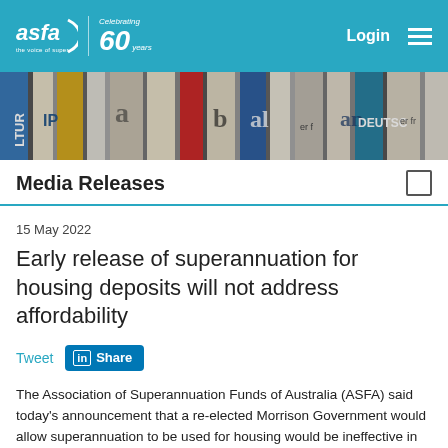asfa – The Voice of Super | Celebrating 60 years | Login
[Figure (photo): Banner showing rolled-up newspapers with various mastheads and text visible including LTUR, IP, DEUTSC, and other partial newspaper titles]
Media Releases
15 May 2022
Early release of superannuation for housing deposits will not address affordability
Tweet   Share
The Association of Superannuation Funds of Australia (ASFA) said today's announcement that a re-elected Morrison Government would allow superannuation to be used for housing would be ineffective in improving housing affordability and will significantly impact the ability of Australians to have a dignified retirement.